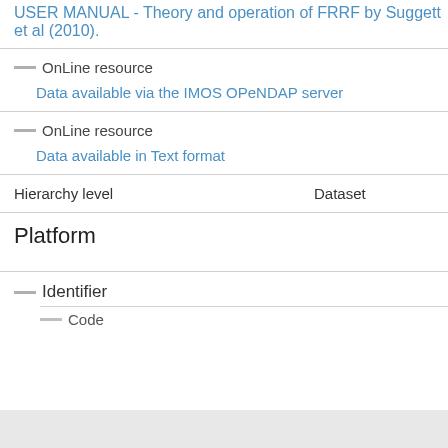USER MANUAL - Theory and operation of FRRF by Suggett et al (2010).
OnLine resource
Data available via the IMOS OPeNDAP server
OnLine resource
Data available in Text format
Hierarchy level    Dataset
Platform
Identifier
Code